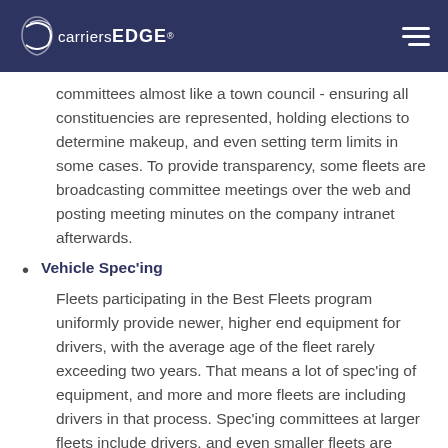carriers EDGE®
committees almost like a town council - ensuring all constituencies are represented, holding elections to determine makeup, and even setting term limits in some cases. To provide transparency, some fleets are broadcasting committee meetings over the web and posting meeting minutes on the company intranet afterwards.
Vehicle Spec'ing
Fleets participating in the Best Fleets program uniformly provide newer, higher end equipment for drivers, with the average age of the fleet rarely exceeding two years. That means a lot of spec'ing of equipment, and more and more fleets are including drivers in that process. Spec'ing committees at larger fleets include drivers, and even smaller fleets are regularly collecting driver feedback on a variety of features to ensure driver needs are satisfied.